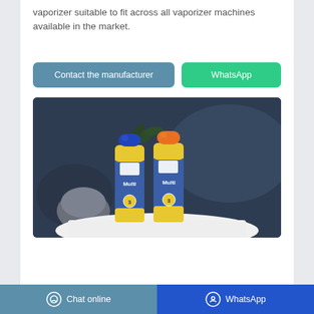vaporizer suitable to fit across all vaporizer machines available in the market.
Contact the manufacturer
WhatsApp
[Figure (photo): Two Arrow brand multi-purpose spray cans (one with blue cap, one with orange cap) with yellow labels showing 'Multi' branding, placed on a white cloth against a dark blue background with a plant and grey decorative object.]
Chat online | WhatsApp